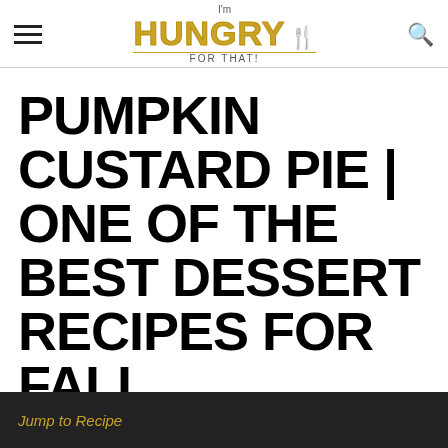I'm HUNGRY FOR THAT! [logo with hamburger menu and search icon]
PUMPKIN CUSTARD PIE | ONE OF THE BEST DESSERT RECIPES FOR FALL
by Brendan Cunningham 13 Comments
Jump to Recipe